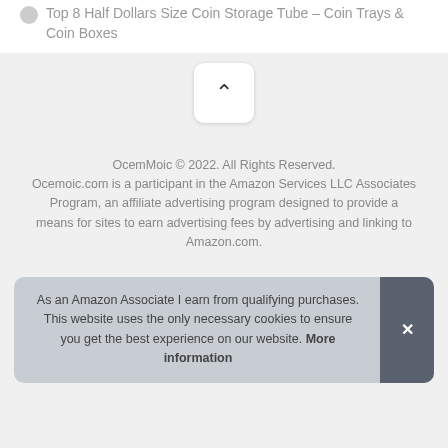Top 8 Half Dollars Size Coin Storage Tube – Coin Trays & Coin Boxes
[Figure (other): Scroll-to-top button with upward chevron arrow on white rounded rectangle background]
OcemMoic © 2022. All Rights Reserved. Ocemoic.com is a participant in the Amazon Services LLC Associates Program, an affiliate advertising program designed to provide a means for sites to earn advertising fees by advertising and linking to Amazon.com.
As an Amazon Associate I earn from qualifying purchases. This website uses the only necessary cookies to ensure you get the best experience on our website. More information